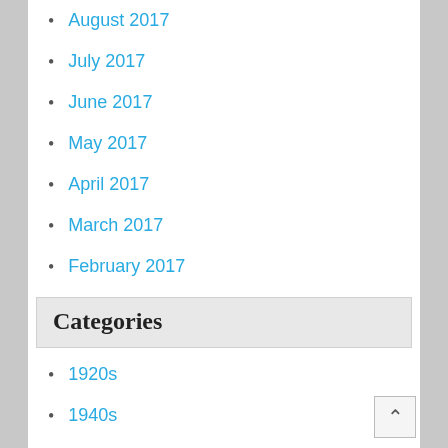August 2017
July 2017
June 2017
May 2017
April 2017
March 2017
February 2017
Categories
1920s
1940s
1950s
1960s
1970's
1970monster
2001a
2007-08